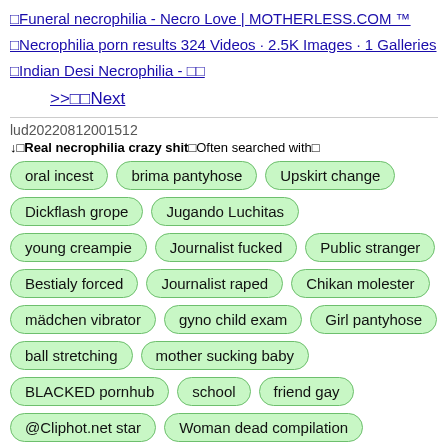□Funeral necrophilia - Necro Love | MOTHERLESS.COM ™
□Necrophilia porn results 324 Videos · 2.5K Images · 1 Galleries
□Indian Desi Necrophilia - □□
>>□□Next
lud20220812001512
↓□Real necrophilia crazy shit□Often searched with□
oral incest
brima pantyhose
Upskirt change
Dickflash grope
Jugando Luchitas
young creampie
Journalist fucked
Public stranger
Bestialy forced
Journalist raped
Chikan molester
mädchen vibrator
gyno child exam
Girl pantyhose
ball stretching
mother sucking baby
BLACKED pornhub
school
friend gay
@Cliphot.net star
Woman dead compilation